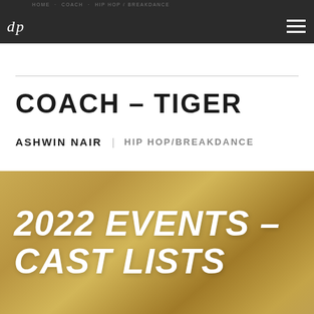HOME · COACH · HIP HOP / BREAKDANCE
COACH – TIGER
ASHWIN NAIR   HIP HOP/BREAKDANCE
[Figure (other): Gold/tan gradient banner background with large bold italic white text reading '2022 EVENTS – CAST LISTS']